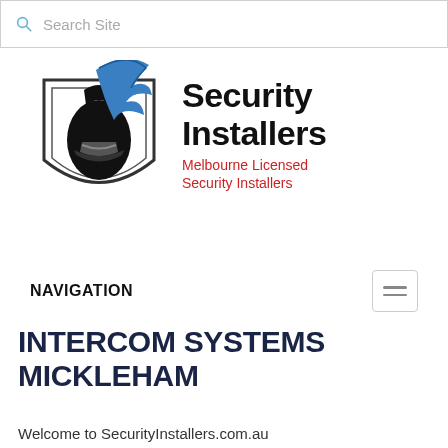Search Site
[Figure (logo): Security Installers logo: Spartan helmet on a shield with blue plume, beside bold text 'Security Installers' and red subtitle 'Melbourne Licensed Security Installers']
NAVIGATION
INTERCOM SYSTEMS MICKLEHAM
Welcome to SecurityInstallers.com.au